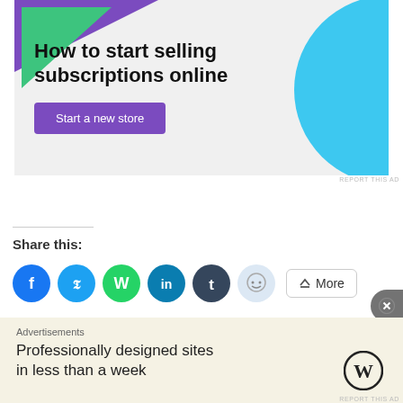[Figure (illustration): Advertisement banner with purple and green decorative triangles and blue quarter-circle shape. Text reads 'How to start selling subscriptions online' with a purple 'Start a new store' button. Light gray background.]
REPORT THIS AD
Share this:
[Figure (infographic): Row of social media share icon circles: Facebook (blue), Twitter (blue), WhatsApp (green), LinkedIn (dark teal), Tumblr (dark), Reddit (light blue), plus a 'More' button with share icon]
[Figure (illustration): Like button with star icon]
[Figure (illustration): Bottom advertisement bar: 'Advertisements' label, 'Professionally designed sites in less than a week' text, WordPress logo. Close (X) button on right side.]
REPORT THIS AD